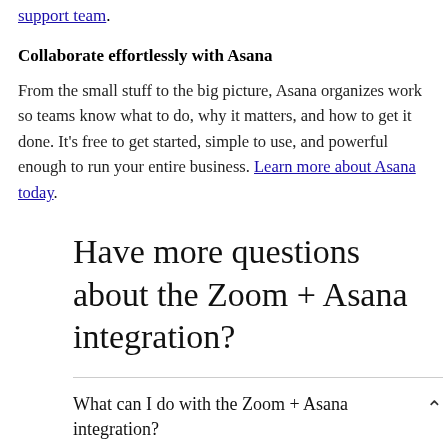support team.
Collaborate effortlessly with Asana
From the small stuff to the big picture, Asana organizes work so teams know what to do, why it matters, and how to get it done. It’s free to get started, simple to use, and powerful enough to run your entire business. Learn more about Asana today.
Have more questions about the Zoom + Asana integration?
What can I do with the Zoom + Asana integration?
With the Zoom + Asana integration, you can link existing Zoom meetings to Asana tasks or create a new Zoom meeting from Asana. Then, once the meeting is over, Asana will automatically pull your